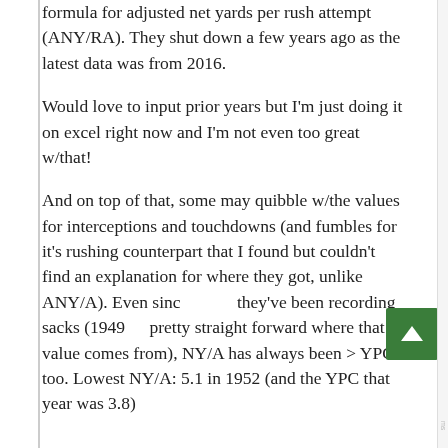formula for adjusted net yards per rush attempt (ANY/RA). They shut down a few years ago as the latest data was from 2016.
Would love to input prior years but I'm just doing it on excel right now and I'm not even too great w/that!
And on top of that, some may quibble w/the values for interceptions and touchdowns (and fumbles for it's rushing counterpart that I found but couldn't find an explanation for where they got, unlike ANY/A). Even since they've been recording sacks (1949, pretty straight forward where that value comes from), NY/A has always been > YPC too. Lowest NY/A: 5.1 in 1952 (and the YPC that year was 3.8)